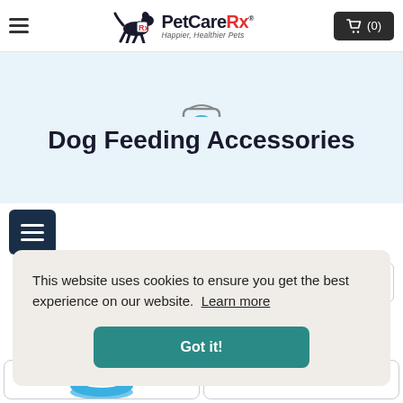PetCareRx — Happier, Healthier Pets — cart (0)
Dog Feeding Accessories
This website uses cookies to ensure you get the best experience on our website. Learn more
Got it!